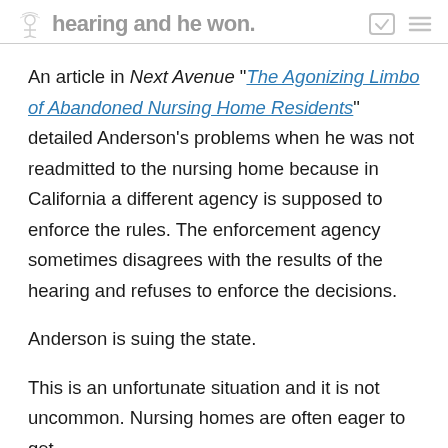hearing and he won.
An article in Next Avenue “The Agonizing Limbo of Abandoned Nursing Home Residents” detailed Anderson’s problems when he was not readmitted to the nursing home because in California a different agency is supposed to enforce the rules. The enforcement agency sometimes disagrees with the results of the hearing and refuses to enforce the decisions.
Anderson is suing the state.
This is an unfortunate situation and it is not uncommon. Nursing homes are often eager to get